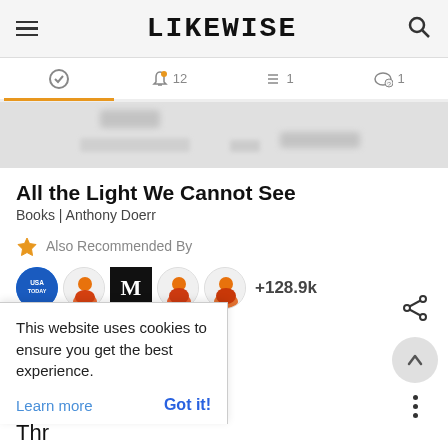LIKEWISE
[Figure (screenshot): Navigation tab bar with activity, notifications (12), list (1), and comments (1) icons]
[Figure (photo): Blurred book cover area for All the Light We Cannot See]
All the Light We Cannot See
Books | Anthony Doerr
Also Recommended By
[Figure (infographic): Recommender avatars: USA Today logo, person avatar, Medium M logo, two person avatars, +128.9k count]
This website uses cookies to ensure you get the best experience.
Learn more
Got it!
Thr